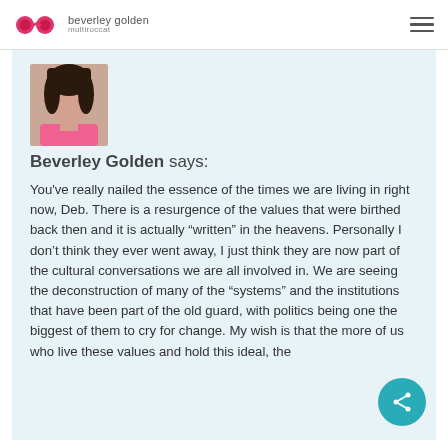beverley golden multirocoat
[Figure (photo): Portrait photo of Beverley Golden, a woman with dark hair wearing a pink top]
Beverley Golden says:
You've really nailed the essence of the times we are living in right now, Deb. There is a resurgence of the values that were birthed back then and it is actually “written” in the heavens. Personally I don’t think they ever went away, I just think they are now part of the cultural conversations we are all involved in. We are seeing the deconstruction of many of the “systems” and the institutions that have been part of the old guard, with politics being one the biggest of them to cry for change. My wish is that the more of us who live these values and hold this ideal, the